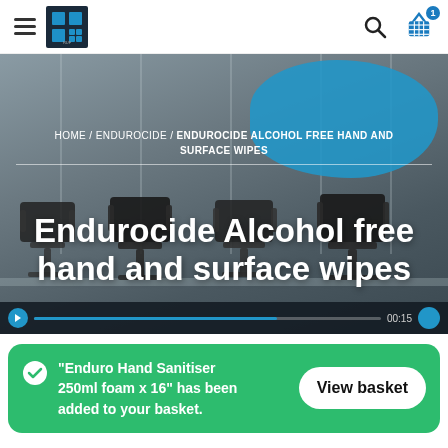Navigation bar with hamburger menu, logo, search icon, and basket icon
[Figure (screenshot): Hero banner with office chairs background image, blue blob shape overlay, breadcrumb navigation, product title 'Endurocide Alcohol free hand and surface wipes', and a video progress bar at the bottom showing 00:15]
HOME / ENDUROCIDE / ENDUROCIDE ALCOHOL FREE HAND AND SURFACE WIPES
Endurocide Alcohol free hand and surface wipes
"Enduro Hand Sanitiser 250ml foam x 16" has been added to your basket.